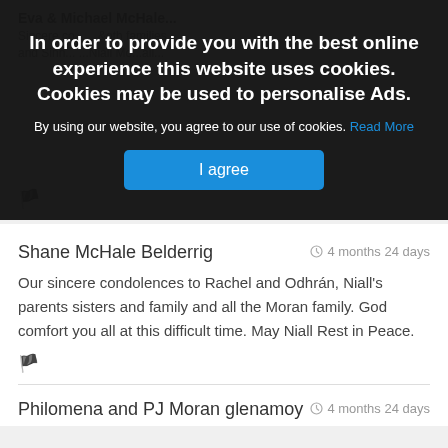In order to provide you with the best online experience this website uses cookies. Cookies may be used to personalise Ads.
By using our website, you agree to our use of cookies. Read More
I agree
Shane McHale Belderrig
4 months 24 days
Our sincere condolences to Rachel and Odhrán, Niall's parents sisters and family and all the Moran family. God comfort you all at this difficult time. May Niall Rest in Peace.
Philomena and PJ Moran glenamoy
4 months 24 days